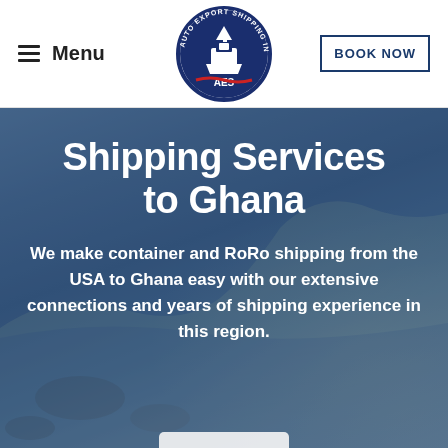Menu | Auto Export Shipping Inc. Logo | BOOK NOW
[Figure (logo): Auto Export Shipping Inc. circular logo with ship graphic and AES text, navy blue circle with red wave]
Shipping Services to Ghana
We make container and RoRo shipping from the USA to Ghana easy with our extensive connections and years of shipping experience in this region.